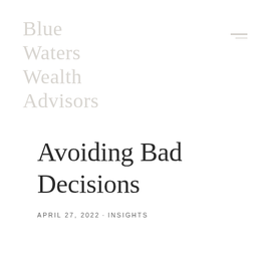Blue Waters Wealth Advisors
Avoiding Bad Decisions
APRIL 27, 2022 · INSIGHTS